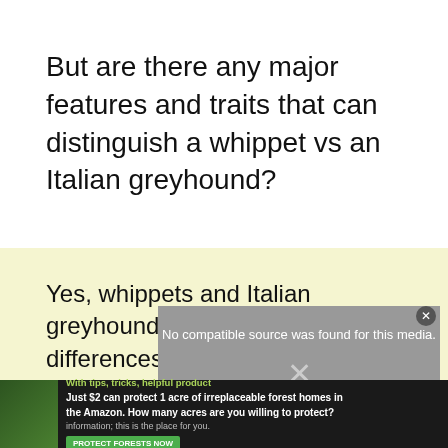But are there any major features and traits that can distinguish a whippet vs an Italian greyhound?
Yes, whippets and Italian greyhounds have unique differences and similarities too. This article compares these two
[Figure (other): Video player overlay showing 'No compatible source was found for this media.' with an X close button and subtitle text about raising and caring for whippets]
[Figure (other): Advertisement banner: 'Just $2 can protect 1 acre of irreplaceable forest homes in the Amazon. How many acres are you willing to protect?' with a green Protect Forests Now button]